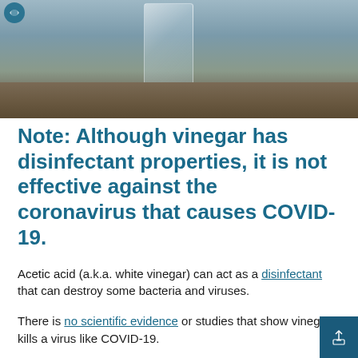[Figure (photo): Photo of a glass jar/bottle on a wooden surface with gray background]
Note: Although vinegar has disinfectant properties, it is not effective against the coronavirus that causes COVID-19.
Acetic acid (a.k.a. white vinegar) can act as a disinfectant that can destroy some bacteria and viruses.
There is no scientific evidence or studies that show vinegar kills a virus like COVID-19.